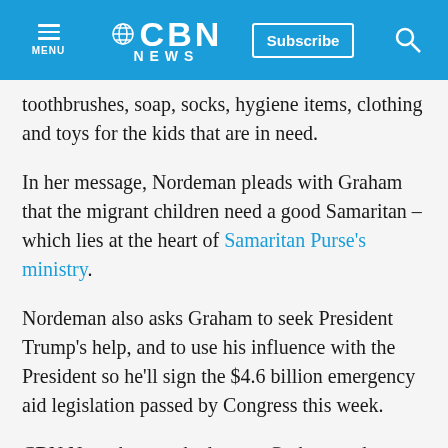CBN NEWS
toothbrushes, soap, socks, hygiene items, clothing and toys for the kids that are in need.
In her message, Nordeman pleads with Graham that the migrant children need a good Samaritan – which lies at the heart of Samaritan Purse's ministry.
Nordeman also asks Graham to seek President Trump's help, and to use his influence with the President so he'll sign the $4.6 billion emergency aid legislation passed by Congress this week.
CBN News has reached out to Graham and Samaritan's Purse for comment.